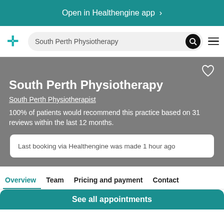Open in Healthengine app ›
[Figure (screenshot): Healthengine app logo (teal cross/H icon) and search bar showing 'South Perth Physiotherapy' with search and menu icons]
South Perth Physiotherapy
South Perth Physiotherapist
100% of patients would recommend this practice based on 31 reviews within the last 12 months.
Last booking via Healthengine was made 1 hour ago
Overview   Team   Pricing and payment   Contact
See all appointments